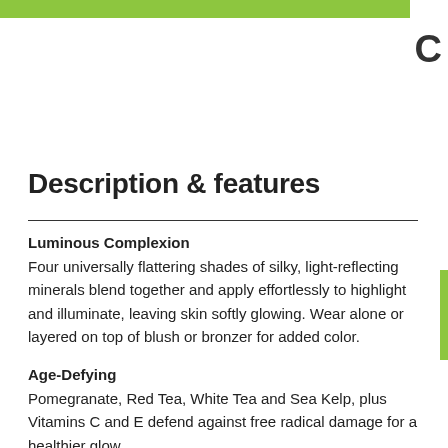Description & features
Luminous Complexion
Four universally flattering shades of silky, light-reflecting minerals blend together and apply effortlessly to highlight and illuminate, leaving skin softly glowing. Wear alone or layered on top of blush or bronzer for added color.
Age-Defying
Pomegranate, Red Tea, White Tea and Sea Kelp, plus Vitamins C and E defend against free radical damage for a healthier glow.